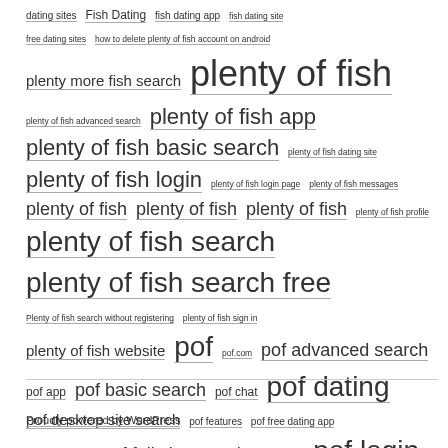dating sites Fish Dating fish dating app fish dating site free dating sites how to delete plenty of fish account on android plenty more fish search plenty of fish plenty of fish advanced search plenty of fish app plenty of fish basic search plenty of fish dating site plenty of fish login plenty of fish login page plenty of fish messages plenty of fish plenty of fish plenty of fish plenty of fish profile plenty of fish search plenty of fish search free Plenty of fish search without registering plenty of fish sign in plenty of fish website pof pof.com pof advanced search pof app pof basic search pof chat pof dating pof desktop site search pof features pof free dating app pof free search pof full site search pof inbox pof login POF Mobile pof profile pof profile picture tips pof search pof search engine pof sign in pof site search pof user search pof view profile
Proudly powered by WordPress